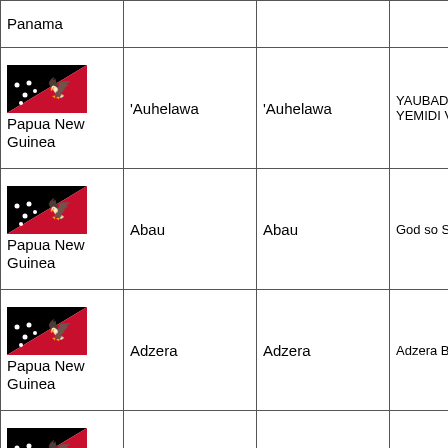| Country | Language | Dialect | Title |
| --- | --- | --- | --- |
| Panama |  |  |  |
| Papua New Guinea | 'Auhelawa | 'Auhelawa | YAUBADA YA... YEMIDI VAU... |
| Papua New Guinea | Abau | Abau | God so Sokio... |
| Papua New Guinea | Adzera | Adzera | Adzera Baibe... |
| Papua New Guinea | Agarabi | Agarabi | YISASINI KA... |
| Papua New Guinea (partial) | Akukem | Akukem | Mak Osirisira ... Aghuun ko Ies... |